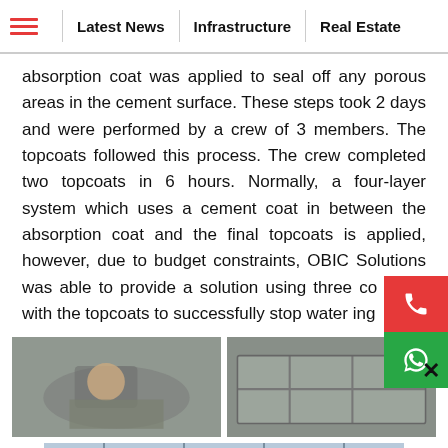≡  Latest News  |  Infrastructure  |  Real Estate
absorption coat was applied to seal off any porous areas in the cement surface. These steps took 2 days and were performed by a crew of 3 members. The topcoats followed this process. The crew completed two topcoats in 6 hours. Normally, a four-layer system which uses a cement coat in between the absorption coat and the final topcoats is applied, however, due to budget constraints, OBIC Solutions was able to provide a solution using three co along with the topcoats to successfully stop water ing
[Figure (photo): Worker applying cement/waterproofing material to a surface, crouching down]
[Figure (photo): Overhead view of workers applying waterproofing coat on a flat cement surface]
[Figure (photo): Construction site banner image showing cranes and structure]